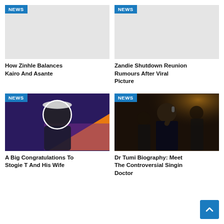[Figure (photo): Light gray placeholder image with NEWS badge, top-left]
How Zinhle Balances Kairo And Asante
[Figure (photo): Light gray placeholder image with NEWS badge, top-right]
Zandie Shutdown Reunion Rumours After Viral Picture
[Figure (photo): Photo of Stogie T on colorful purple/orange background with NEWS badge]
A Big Congratulations To Stogie T And His Wife
[Figure (photo): Photo of Dr Tumi singing on stage with NEWS badge]
Dr Tumi Biography: Meet The Controversial Singing Doctor